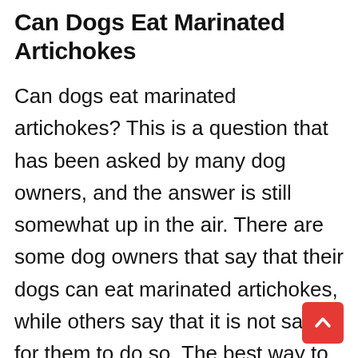Can Dogs Eat Marinated Artichokes
Can dogs eat marinated artichokes? This is a question that has been asked by many dog owners, and the answer is still somewhat up in the air. There are some dog owners that say that their dogs can eat marinated artichokes, while others say that it is not safe for them to do so. The best way to figure out if your dog can eat marinated artichokes is to speak to a veterinarian first. They will be able to tell you if the artichokes are safe for your dog to eat, and if they are not, they can give